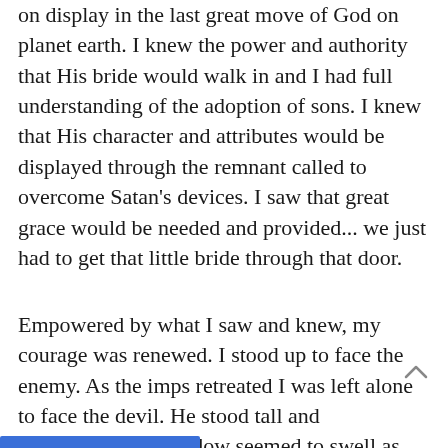on display in the last great move of God on planet earth. I knew the power and authority that His bride would walk in and I had full understanding of the adoption of sons. I knew that His character and attributes would be displayed through the remnant called to overcome Satan's devices. I saw that great grace would be needed and provided... we just had to get that little bride through that door.
Empowered by what I saw and knew, my courage was renewed. I stood up to face the enemy. As the imps retreated I was left alone to face the devil. He stood tall and massive and his shadow seemed to swell as he moved toward me. I could see the bride